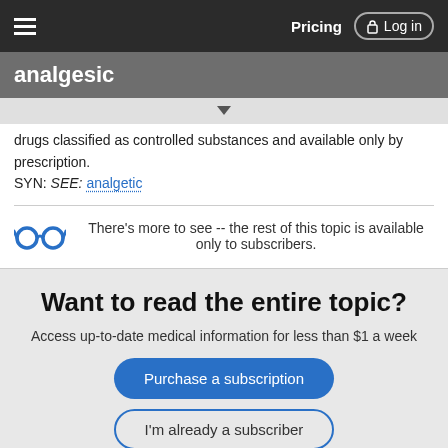Pricing  Log in
analgesic
drugs classified as controlled substances and available only by prescription.
SYN: SEE: analgetic
There's more to see -- the rest of this topic is available only to subscribers.
Want to read the entire topic?
Access up-to-date medical information for less than $1 a week
Purchase a subscription
I'm already a subscriber
Browse sample topics